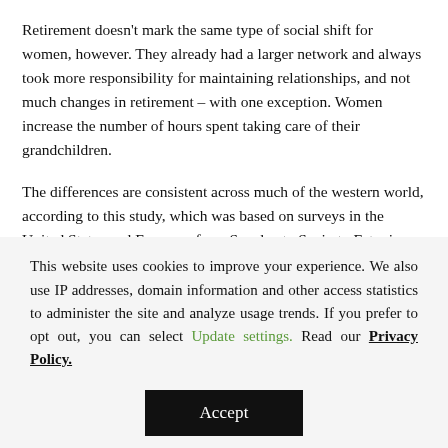Retirement doesn't mark the same type of social shift for women, however. They already had a larger network and always took more responsibility for maintaining relationships, and not much changes in retirement – with one exception. Women increase the number of hours spent taking care of their grandchildren.
The differences are consistent across much of the western world, according to this study, which was based on surveys in the United States and Europe – from Sweden to Spain to Estonia. Although married and single people participated in the survey, the heart of the analysis was asking each individual this question:
“Looking back over the last 12 months, who are the people with whom you most often discussed things that are important to you?” Each
This website uses cookies to improve your experience. We also use IP addresses, domain information and other access statistics to administer the site and analyze usage trends. If you prefer to opt out, you can select Update settings. Read our Privacy Policy.
Accept